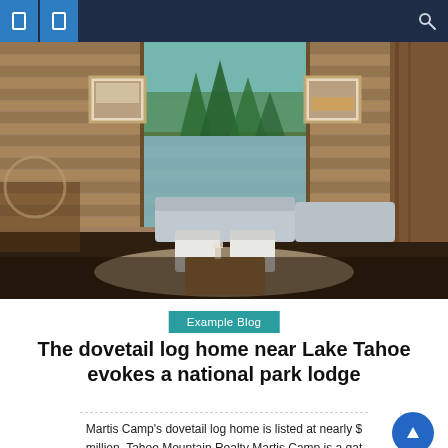Navigation bar with icons and search
[Figure (photo): Interior of a rustic log cabin living room with high ceilings, large floor-to-ceiling windows overlooking pine trees, light grey sofas and armchairs, wooden coffee table, framed artwork on log walls, and dark hardwood floors.]
Example Blog
The dovetail log home near Lake Tahoe evokes a national park lodge
Martis Camp's dovetail log home is listed at nearly $... million. Tahoe Mountain Realty Martis Camp is a gated community of over 2,100 acres amidst forests, meadows and...